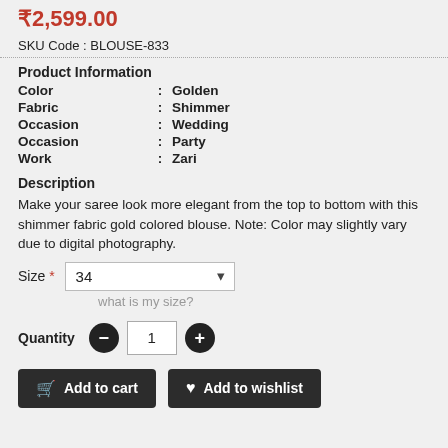₹2,599.00
SKU Code : BLOUSE-833
Product Information
| Attribute | : | Value |
| --- | --- | --- |
| Color | : | Golden |
| Fabric | : | Shimmer |
| Occasion | : | Wedding |
| Occasion | : | Party |
| Work | : | Zari |
Description
Make your saree look more elegant from the top to bottom with this shimmer fabric gold colored blouse. Note: Color may slightly vary due to digital photography.
Size * 34 ▾
what is my size?
Quantity  −  1  +
Add to cart   Add to wishlist